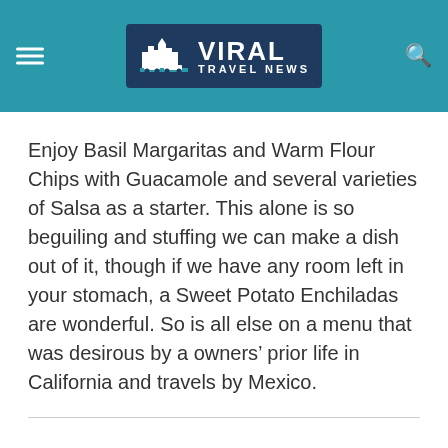[Figure (logo): Viral Travel News logo on teal header bar with hamburger menu icon on left and search icon on right]
Enjoy Basil Margaritas and Warm Flour Chips with Guacamole and several varieties of Salsa as a starter. This alone is so beguiling and stuffing we can make a dish out of it, though if we have any room left in your stomach, a Sweet Potato Enchiladas are wonderful. So is all else on a menu that was desirous by a owners’ prior life in California and travels by Mexico.